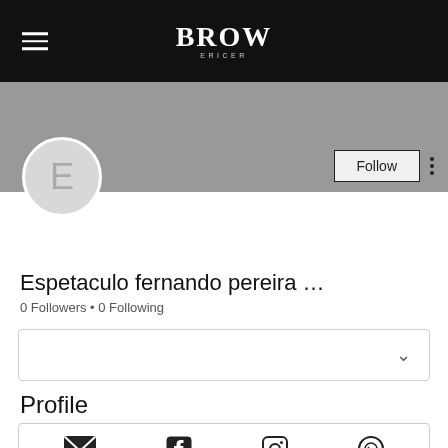BROW
[Figure (screenshot): Gray profile banner with Follow button and three-dot menu]
[Figure (illustration): Circular avatar with letter E]
Espetaculo fernando pereira …
0 Followers • 0 Following
[Figure (other): Dropdown selector box with chevron]
Profile
[Figure (other): Social icons bar: email, facebook, instagram, whatsapp]